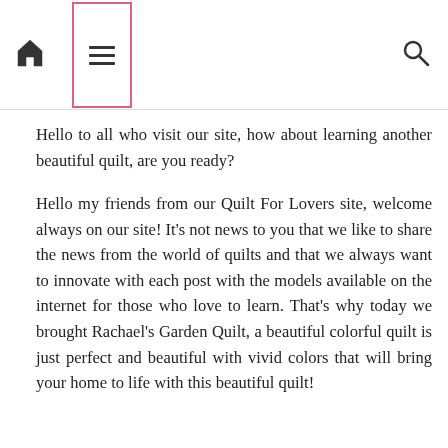[Navigation bar with home icon, hamburger menu, and search icon]
Hello to all who visit our site, how about learning another beautiful quilt, are you ready?
Hello my friends from our Quilt For Lovers site, welcome always on our site! It’s not news to you that we like to share the news from the world of quilts and that we always want to innovate with each post with the models available on the internet for those who love to learn. That’s why today we brought Rachael’s Garden Quilt, a beautiful colorful quilt is just perfect and beautiful with vivid colors that will bring your home to life with this beautiful quilt!